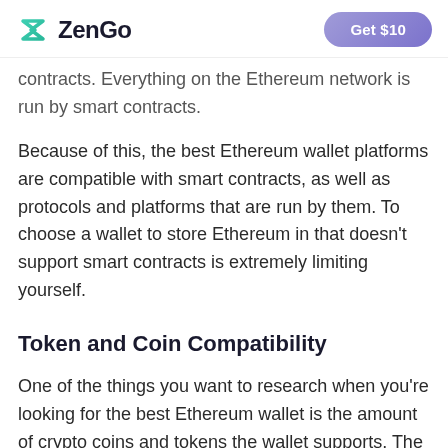ZenGo  |  Get $10
contracts. Everything on the Ethereum network is run by smart contracts.
Because of this, the best Ethereum wallet platforms are compatible with smart contracts, as well as protocols and platforms that are run by them. To choose a wallet to store Ethereum in that doesn’t support smart contracts is extremely limiting yourself.
Token and Coin Compatibility
One of the things you want to research when you’re looking for the best Ethereum wallet is the amount of crypto coins and tokens the wallet supports. The more coins and tokens that a wallet supports is a good indication that it’s a successful platform that’s compatible with any sort of coin or token you want to